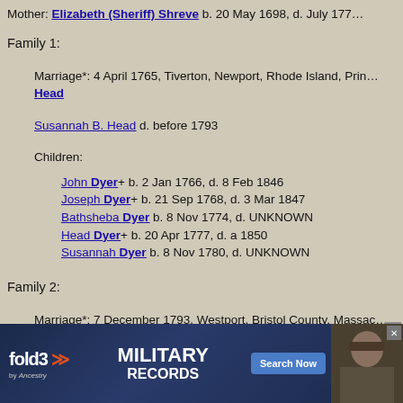Mother: Elizabeth (Sheriff) Shreve b. 20 May 1698, d. July 177…
Family 1:
Marriage*: 4 April 1765, Tiverton, Newport, Rhode Island, Pri… Head
Susannah B. Head d. before 1793
Children:
John Dyer+ b. 2 Jan 1766, d. 8 Feb 1846
Joseph Dyer+ b. 21 Sep 1768, d. 3 Mar 1847
Bathsheba Dyer b. 8 Nov 1774, d. UNKNOWN
Head Dyer+ b. 20 Apr 1777, d. a 1850
Susannah Dyer b. 8 Nov 1780, d. UNKNOWN
Family 2:
Marriage*: 7 December 1793, Westport, Bristol County, Massac… Principal=Deborah Gifford
Deborah Gifford b. 27 S… d. before 1846
Chil…
[Figure (advertisement): Fold3 Military Records advertisement banner by Ancestry]